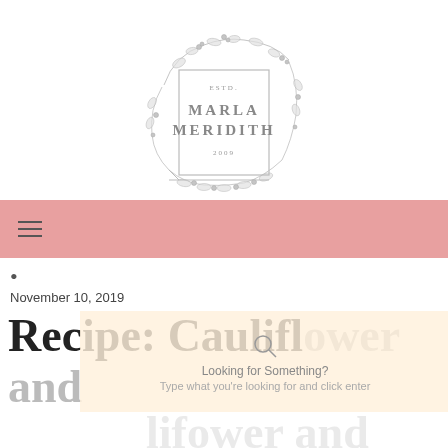[Figure (logo): Marla Meridith logo with floral wreath border, text: ESTD. MARLA MERIDITH 2009]
≡ (navigation menu bar, pink background)
•
November 10, 2019
Recipe: Cauliflower and
Looking for Something?
Type what you're looking for and click enter